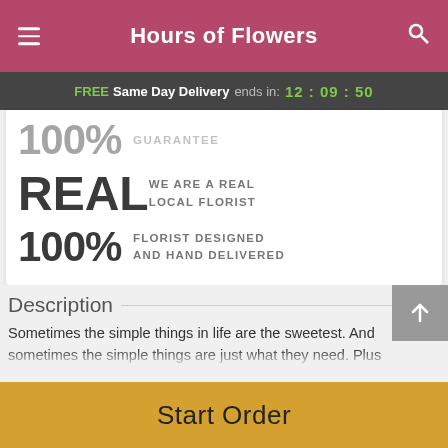Hours of Flowers
FREE Same Day Delivery ends in: 12:09:50
100% GUARANTEE
REAL WE ARE A REAL LOCAL FLORIST
100% FLORIST DESIGNED AND HAND DELIVERED
Description
Sometimes the simple things in life are the sweetest. And sometimes the simple things are just what they need. Plus
Start Order